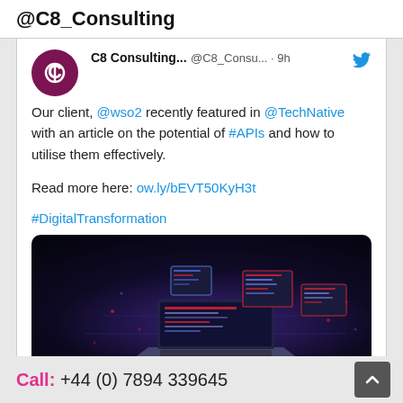@C8_Consulting
C8 Consulting... @C8_Consu... · 9h
Our client, @wso2 recently featured in @TechNative with an article on the potential of #APIs and how to utilise them effectively.

Read more here: ow.ly/bEVT50KyH3t

#DigitalTransformation
[Figure (photo): Dark technology image showing a laptop with floating digital screens displaying code and data visualizations with red and purple lighting effects]
Call: +44 (0) 7894 339645